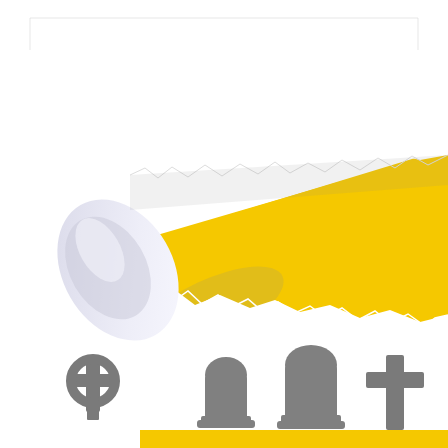[Figure (illustration): A torn paper effect illustration revealing a bright yellow background beneath white paper being peeled back from the lower-left corner, with a curled paper roll at the left side. Below the torn paper effect are four gray gravestone/cross icons: a Celtic cross, an arched headstone, a larger arched headstone, and a Latin cross.]
www.vectortemplates.com
www.vectortemplates.com